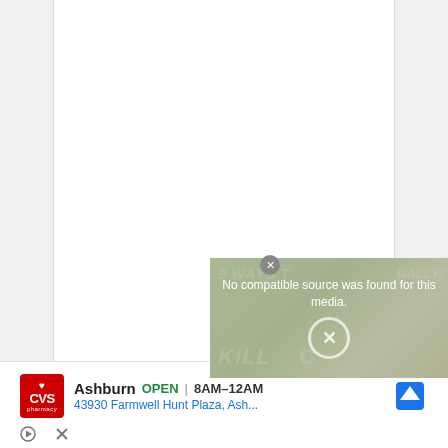[Figure (screenshot): A white document/webpage area with a video player overlay showing a media error message 'No compatible source was found for this media.' with an X dismiss button, overlaid on a background showing partial text '9 WAYS TO KILL...' and 'NATURALLY!' on a green background. A close button appears at top right of the video overlay.]
[Figure (screenshot): Advertisement for CVS Pharmacy showing CVS logo, 'Ashburn OPEN | 8AM-12AM', address '43930 Farmwell Hunt Plaza, Ash...' with a map/directions icon. Below are play and X (dismiss) ad control icons.]